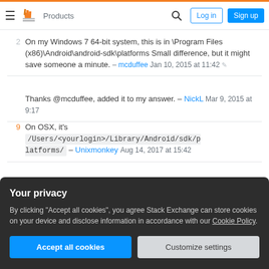Stack Overflow navigation bar with hamburger menu, logo, Products, search, Log in, Sign up
2 On my Windows 7 64-bit system, this is in \Program Files (x86)\Android\android-sdk\platforms Small difference, but it might save someone a minute. – mcduffee Jan 10, 2015 at 11:42
Thanks @mcduffee, added it to my answer. – NickL Mar 9, 2015 at 9:17
9 On OSX, it's /Users/<yourlogin>/Library/Android/sdk/platforms/ – Unixmonkey Aug 14, 2017 at 15:42
Add a comment
Your privacy
By clicking "Accept all cookies", you agree Stack Exchange can store cookies on your device and disclose information in accordance with our Cookie Policy.
Accept all cookies | Customize settings